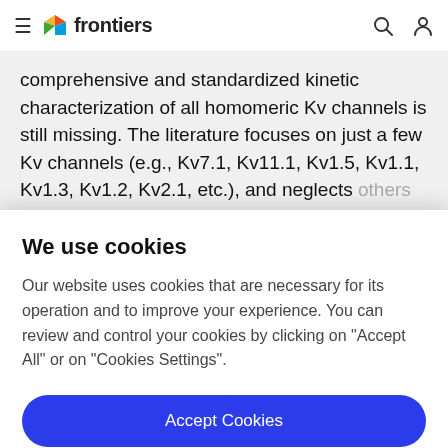frontiers
comprehensive and standardized kinetic characterization of all homomeric Kv channels is still missing. The literature focuses on just a few Kv channels (e.g., Kv7.1, Kv11.1, Kv1.5, Kv1.1, Kv1.3, Kv1.2, Kv2.1, etc.), and neglects others (e.g., Kv4.7, Kv4.9, Kv5..., Kv8..., Kv12...)
We use cookies
Our website uses cookies that are necessary for its operation and to improve your experience. You can review and control your cookies by clicking on "Accept All" or on "Cookies Settings".
Accept Cookies
Cookies Settings